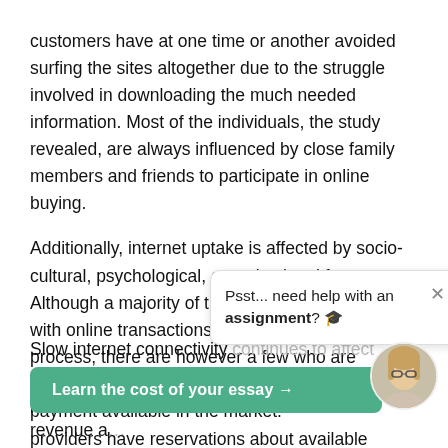customers have at one time or another avoided surfing the sites altogether due to the struggle involved in downloading the much needed information. Most of the individuals, the study revealed, are always influenced by close family members and friends to participate in online buying.
Additionally, internet uptake is affected by socio-cultural, psychological, organizational factors. Although a majority of the customers are satisfied with online transactions and had trust in the process, there are however a few who are frustrated by the limited methods of online payment available in the market.
[Figure (screenshot): Chat popup widget with text 'Psst... need help with an assignment? 🎓' and a close X button]
Slow internet connectivity continues to affect service providers, facilitating them to loose crucial revenue a...
[Figure (illustration): Green button with text 'Learn the cost of your essay →' and a circular avatar photo of a woman with glasses]
providers have reservations about available electronic